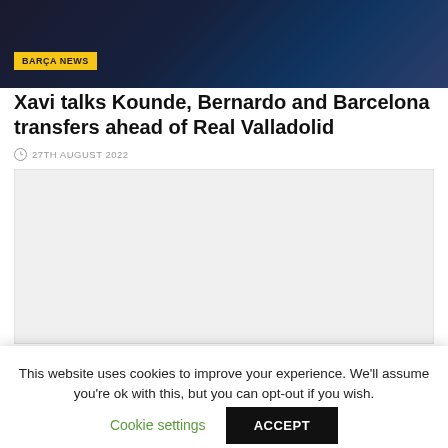[Figure (photo): Dark background hero image with people, overlaid with a yellow BARÇA NEWS badge]
Xavi talks Kounde, Bernardo and Barcelona transfers ahead of Real Valladolid
27TH AUGUST 2022
[Figure (other): Advertisement placeholder with light grey background]
This website uses cookies to improve your experience. We'll assume you're ok with this, but you can opt-out if you wish.
Cookie settings
ACCEPT